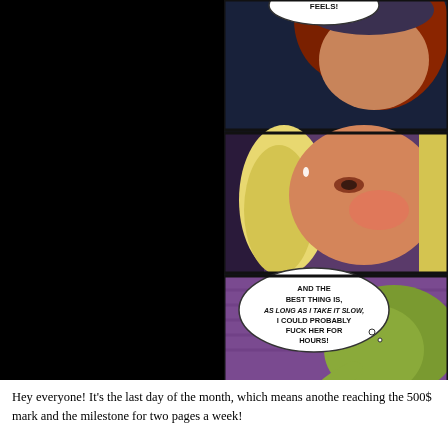[Figure (illustration): Comic book page panels showing two characters: top panel has a red-haired character with a speech bubble cut off showing 'FEELS!'; middle panel shows a blonde character with blushed cheeks looking intensely; bottom panel shows a green creature/character with a thought bubble reading 'AND THE BEST THING IS, AS LONG AS I TAKE IT SLOW, I COULD PROBABLY FUCK HER FOR HOURS!'. Left half of page is black.]
Hey everyone! It's the last day of the month, which means anothe reaching the 500$ mark and the milestone for two pages a week!